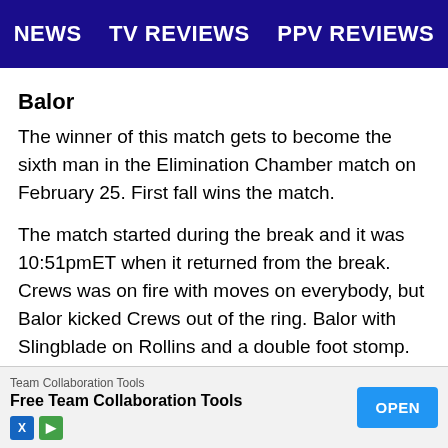NEWS  TV REVIEWS  PPV REVIEWS
Balor
The winner of this match gets to become the sixth man in the Elimination Chamber match on February 25. First fall wins the match.
The match started during the break and it was 10:51pmET when it returned from the break. Crews was on fire with moves on everybody, but Balor kicked Crews out of the ring. Balor with Slingblade on Rollins and a double foot stomp. Balor neckbreaker on Wyatt and Hardy made the save. Rollins with a kick on Hardy while Hardy was going after Balor. Rollins nailed Balor with a superkick and Wyatt came back with a running cross body block. Rollins [ad banner overlapping]
[Figure (other): Advertisement banner: Team Collaboration Tools - Free Team Collaboration Tools - OPEN button]